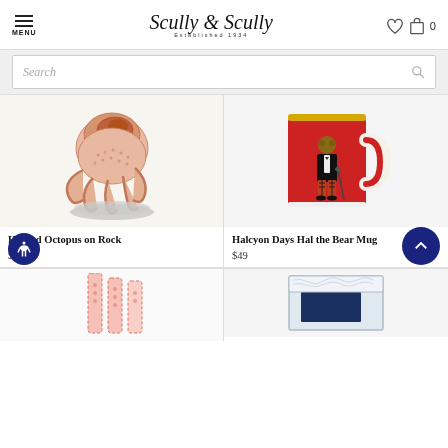MENU | Scully & Scully Established 1934 | Wishlist | Cart 0
Search
[Figure (photo): Herend porcelain octopus figurine on a rock, salmon/pink fishnet pattern]
Herend Octopus on Rock
$670
[Figure (photo): Red ceramic mug with gold rim featuring a dapper bear in a tuxedo illustration — Halcyon Days Hal the Bear Mug]
Halcyon Days Hal the Bear Mug
$49
[Figure (photo): Partial view of a product with red dotted pattern — bottom row left]
[Figure (photo): Partial view of a framed product in box — bottom row right]